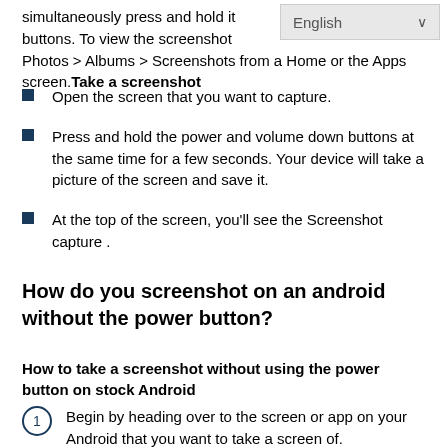simultaneously press and hold it buttons. To view the screenshot Photos > Albums > Screenshots from a Home or the Apps screen. Take a screenshot
[Figure (screenshot): English language dropdown selector]
Open the screen that you want to capture.
Press and hold the power and volume down buttons at the same time for a few seconds. Your device will take a picture of the screen and save it.
At the top of the screen, you'll see the Screenshot capture .
How do you screenshot on an android without the power button?
How to take a screenshot without using the power button on stock Android
Begin by heading over to the screen or app on your Android that you want to take a screen of.